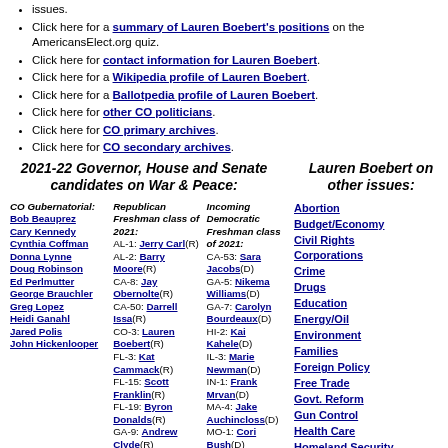issues.
Click here for a summary of Lauren Boebert's positions on the AmericansElect.org quiz.
Click here for contact information for Lauren Boebert.
Click here for a Wikipedia profile of Lauren Boebert.
Click here for a Ballotpedia profile of Lauren Boebert.
Click here for other CO politicians.
Click here for CO primary archives.
Click here for CO secondary archives.
2021-22 Governor, House and Senate candidates on War & Peace:
Lauren Boebert on other issues:
CO Gubernatorial: Bob Beauprez, Cary Kennedy, Cynthia Coffman, Donna Lynne, Doug Robinson, Ed Perlmutter, George Brauchler, Greg Lopez, Heidi Ganahl, Jared Polis, John Hickenlooper
Republican Freshman class of 2021: AL-1: Jerry Carl(R), AL-2: Barry Moore(R), CA-8: Jay Obernolte(R), CA-50: Darrell Issa(R), CO-3: Lauren Boebert(R), FL-3: Kat Cammack(R), FL-15: Scott Franklin(R), FL-19: Byron Donalds(R), GA-9: Andrew Clyde(R), GA-14: Marjorie
Incoming Democratic Freshman class of 2021: CA-53: Sara Jacobs(D), GA-5: Nikema Williams(D), GA-7: Carolyn Bourdeaux(D), HI-2: Kai Kahele(D), IL-3: Marie Newman(D), IN-1: Frank Mrvan(D), MA-4: Jake Auchincloss(D), MO-1: Cori Bush(D), NC-2: Deborah Ross(D), NC-6: Kathy Manning(D), NV-4:
Abortion, Budget/Economy, Civil Rights, Corporations, Crime, Drugs, Education, Energy/Oil, Environment, Families, Foreign Policy, Free Trade, Govt. Reform, Gun Control, Health Care, Homeland Security